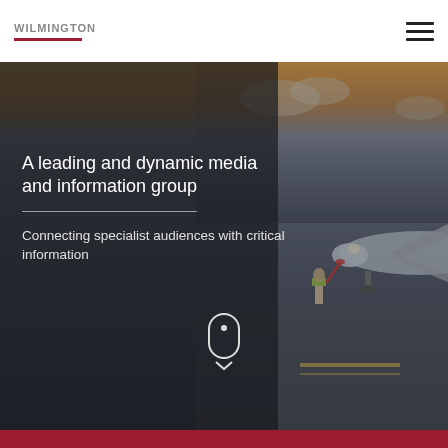Wilmington plc
[Figure (photo): Airport tarmac scene at dusk showing an aircraft being guided by a ground crew member in a high-visibility vest, holding marshalling wands. Golden/orange sky in background.]
A leading and dynamic media and information group
Connecting specialist audiences with critical information